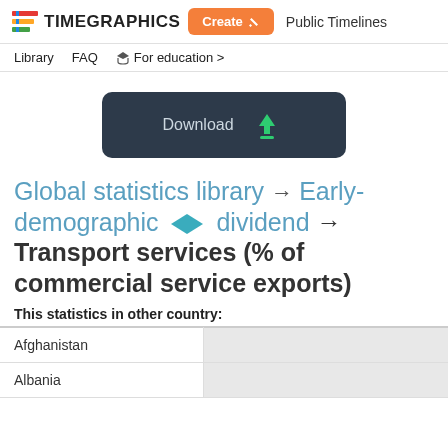TIMEGRAPHICS  Create  Public Timelines
Library  FAQ  For education >
[Figure (other): Download button with dark background and green download arrow icon]
Global statistics library → Early-demographic dividend → Transport services (% of commercial service exports)
This statistics in other country:
Afghanistan
Albania